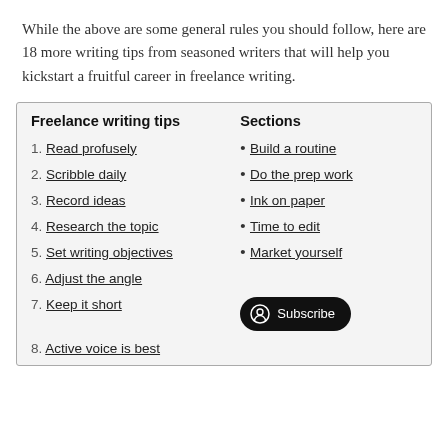While the above are some general rules you should follow, here are 18 more writing tips from seasoned writers that will help you kickstart a fruitful career in freelance writing.
| Freelance writing tips | Sections |
| --- | --- |
| 1. Read profusely | • Build a routine |
| 2. Scribble daily | • Do the prep work |
| 3. Record ideas | • Ink on paper |
| 4. Research the topic | • Time to edit |
| 5. Set writing objectives | • Market yourself |
| 6. Adjust the angle |  |
| 7. Keep it short | [Subscribe button] |
| 8. Active voice is best |  |